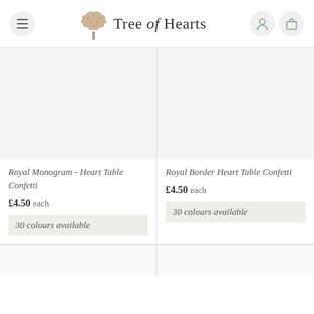Tree of Hearts — navigation header with menu, logo, account and cart icons
[Figure (screenshot): Product card: Royal Monogram - Heart Table Confetti, £4.50 each, 30 colours available]
[Figure (screenshot): Product card: Royal Border Heart Table Confetti, £4.50 each, 30 colours available]